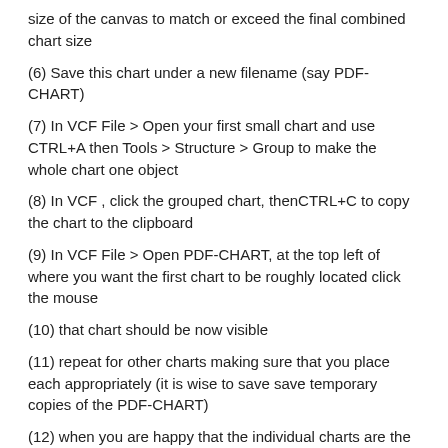size of the canvas to match or exceed the final combined chart size
(6) Save this chart under a new filename (say PDF-CHART)
(7) In VCF File > Open your first small chart and use CTRL+A then Tools > Structure > Group to make the whole chart one object
(8) In VCF , click the grouped chart, thenCTRL+C to copy the chart to the clipboard
(9) In VCF File > Open PDF-CHART, at the top left of where you want the first chart to be roughly located click the mouse
(10) that chart should be now visible
(11) repeat for other charts making sure that you place each appropriately (it is wise to save save temporary copies of the PDF-CHART)
(12) when you are happy that the individual charts are the right place, you an Ungroup them and edit them